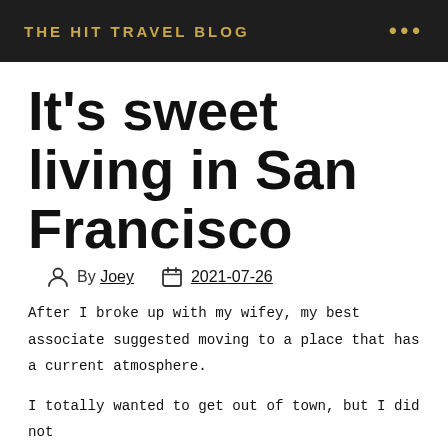THE HIT TRAVEL BLOG
It's sweet living in San Francisco
By Joey   2021-07-26
After I broke up with my wifey, my best associate suggested moving to a place that has a current atmosphere.
I totally wanted to get out of town, but I did not